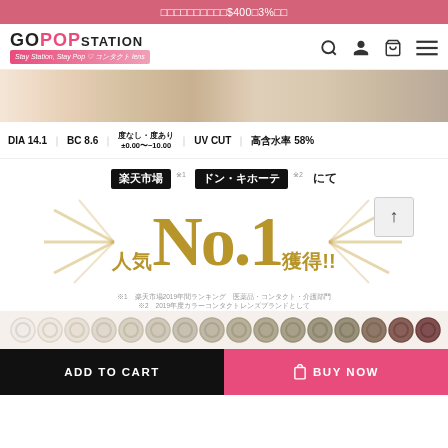□□□□□□□□□□$400□3%□□
[Figure (logo): GO POP STATION contact lens retailer logo with pink subtitle banner]
[Figure (photo): Close-up photo of colored contact lens on eye, beige/brown tones]
DIA 14.1 | BC 8.6 | 度なし・度あり ±0.00〜−10.00 | UV CUT | 高含水率 58%
[Figure (infographic): No.1 ranking badge graphic showing: 楽天市場 and ドン・キホーテ badges followed by にて, then large gold 人気No.1獲得!! text with starburst rays, footnotes about 2019 rankings]
[Figure (photo): Row of colored contact lenses in varying shades from light beige to dark brown]
ADD TO CART
🛍 BUY NOW